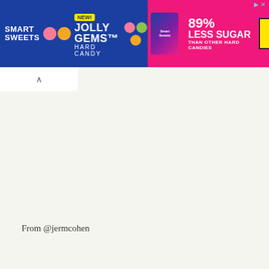[Figure (other): SmartSweets Jolly Gems Hard Candy advertisement banner. Blue and pink background. Left side shows SmartSweets logo, NEW! badge, JOLLY GEMS Hard Candy text with candy circles and product bag. Right side shows '89% LESS SUGAR THAN OTHER HARD CANDIES' and a yellow SHOP NOW button.]
From @jermcohen
61. On snow patrol, Check out the coolest dog!